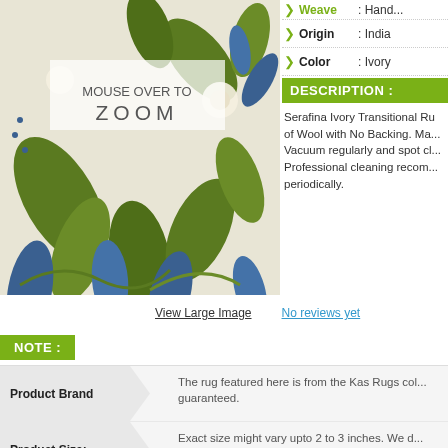[Figure (photo): Product photo of a rug with floral and leaf pattern in green, blue, and ivory colors. An overlay reads 'MOUSE OVER TO ZOOM'.]
Origin : India
Color : Ivory
DESCRIPTION :
Serafina Ivory Transitional Rug of Wool with No Backing. Ma... Vacuum regularly and spot cl... Professional cleaning recom... periodically.
View Large Image
No reviews yet
NOTE :
Product Brand
The rug featured here is from the Kas Rugs col... guaranteed.
Product Size:
Exact size might vary upto 2 to 3 inches. We d... variations. This is not a manufacturing defect.